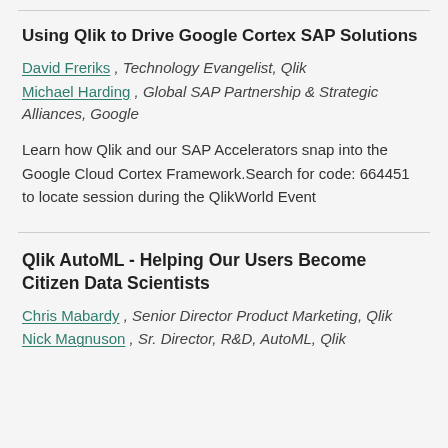Using Qlik to Drive Google Cortex SAP Solutions
David Freriks , Technology Evangelist, Qlik
Michael Harding , Global SAP Partnership & Strategic Alliances, Google
Learn how Qlik and our SAP Accelerators snap into the Google Cloud Cortex Framework.Search for code: 664451 to locate session during the QlikWorld Event
Qlik AutoML - Helping Our Users Become Citizen Data Scientists
Chris Mabardy , Senior Director Product Marketing, Qlik
Nick Magnuson , Sr. Director, R&D, AutoML, Qlik